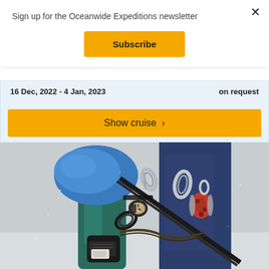×
Sign up for the Oceanwide Expeditions newsletter
Subscribe
16 Dec, 2022 - 4 Jan, 2023
on request
Show cruise  ›
[Figure (photo): Close-up photo of a mountaineering/expedition harness and gear including carabiners, a pulley, ropes, and boots on a snowy background. Colors include blue, teal, red, black, white, and silver.]